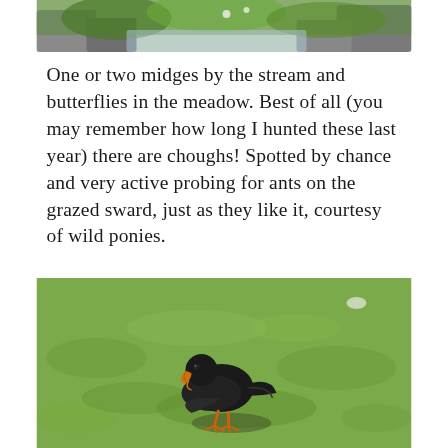[Figure (photo): Partial top photograph showing green foliage, rocks and a stream or waterfall in a natural outdoor setting.]
One or two midges by the stream and butterflies in the meadow. Best of all (you may remember how long I hunted these last year) there are choughs! Spotted by chance and very active probing for ants on the grazed sward, just as they like it, courtesy of wild ponies.
[Figure (photo): A chough (black bird) probing for ants on short grazed grass sward, viewed from the side. The bird is black with an orange beak and legs, standing on green grass with a shadow visible.]